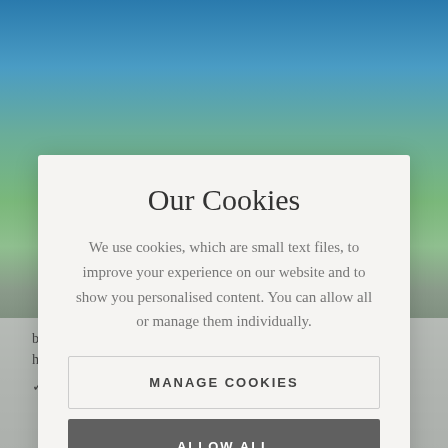[Figure (screenshot): Background website screenshot showing a coastal/seaside property with blue sky, green hills, and a partially visible text about bedrooms and a wraparound deck featured on Fantasy Homes by the Sea.]
Our Cookies
We use cookies, which are small text files, to improve your experience on our website and to show you personalised content. You can allow all or manage them individually.
MANAGE COOKIES
ALLOW ALL
bedrooms and a wraparound deck, it's a magical special occasion home, recently featured on Fantasy Homes by the Sea.
Dog Friendly